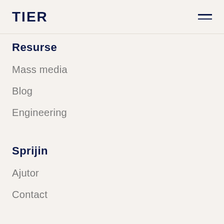TIER
Resurse
Mass media
Blog
Engineering
Sprijin
Ajutor
Contact
Descărcați aplicația